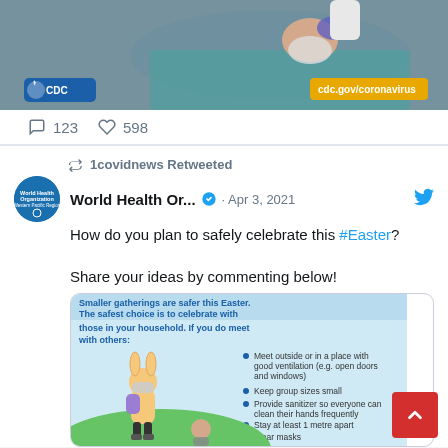[Figure (photo): CDC image showing a patient in hospital bed with oxygen mask, medical professional adjusting mask. CDC logo bottom left, cdc.gov/coronavirus label bottom right.]
123   598
1covidnews Retweeted
World Health Or... · Apr 3, 2021
How do you plan to safely celebrate this #Easter?

Share your ideas by commenting below!
[Figure (infographic): WHO Easter safety infographic: Smaller gatherings are safer this Easter. The safest choice is to celebrate with those in your household. If you do meet with others: Meet outside or in a place with good ventilation (e.g. open doors and windows), Keep group sizes small, Provide sanitizer so everyone can clean their hands frequently, Stay at least 1 metre apart, Wear masks. Illustration of child wearing bunny ears and face mask.]